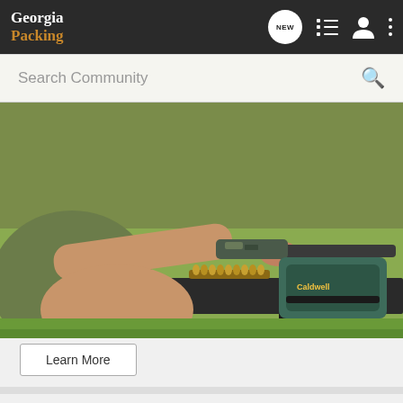Georgia Packing
Search Community
[Figure (photo): Person aiming a rifle at an outdoor shooting range, with ammunition on a table and a Caldwell shooting rest bag visible. Green grass in background.]
Learn More
TippinTaco · Registered
Joined Mar 17, 2010 · 4,447 Posts
#5 · Oct
[Figure (screenshot): Springfield Armory advertisement: 3 Extra Mags and Range Bag FREE with any new striker fired handgun purchase. Gear Up promotion.]